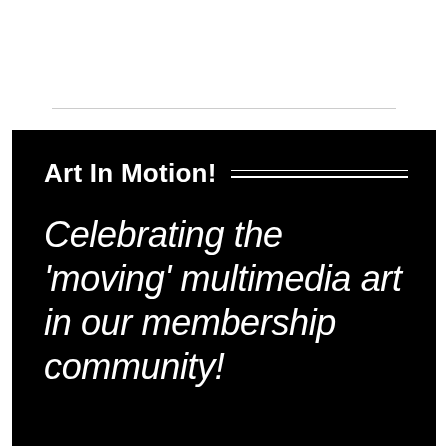Art In Motion!
Celebrating the ‘moving’ multimedia art in our membership community!